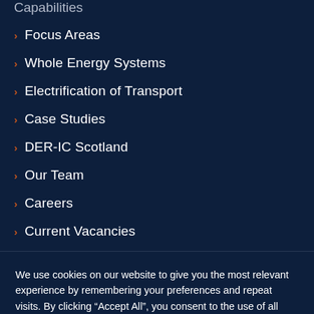Capabilities
Focus Areas
Whole Energy Systems
Electrification of Transport
Case Studies
DER-IC Scotland
Our Team
Careers
Current Vacancies
We use cookies on our website to give you the most relevant experience by remembering your preferences and repeat visits. By clicking “Accept All”, you consent to the use of all cookies. See our privacy policy for further information.
Accept All